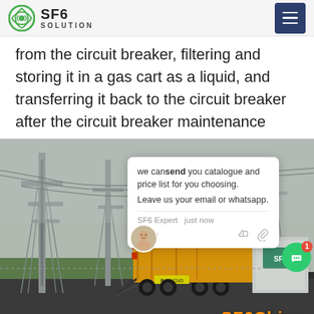SF6 SOLUTION
from the circuit breaker, filtering and storing it in a gas cart as a liquid, and transferring it back to the circuit breaker after the circuit breaker maintenance
[Figure (photo): A yellow gas cart truck parked at an electrical substation with large pylons. SF6China watermark in orange at bottom right. A chat popup overlay shows: 'we can send you catalogue and price list for you choosing. Leave us your email or whatsapp.' with SF6 Expert label and 'just now' timestamp.]